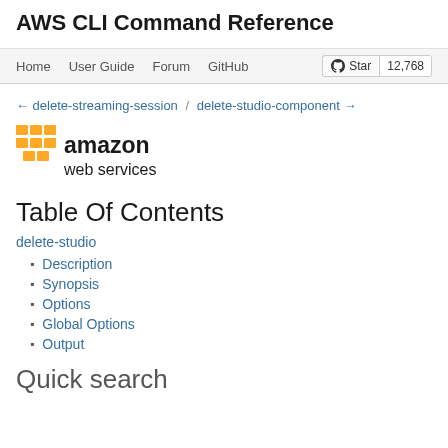AWS CLI Command Reference
Home | User Guide | Forum | GitHub | Star 12,768
← delete-streaming-session / delete-studio-component →
[Figure (logo): Amazon Web Services logo with orange cube icon and 'amazon web services' text]
Table Of Contents
delete-studio
Description
Synopsis
Options
Global Options
Output
Quick search